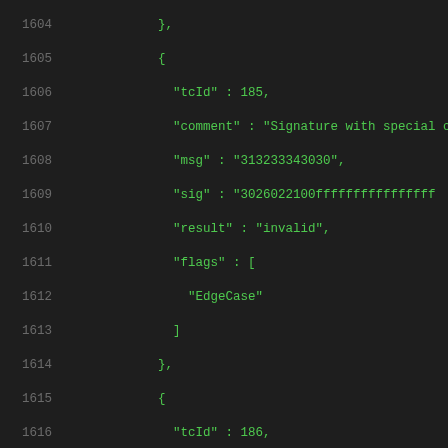Code listing lines 1604-1625, JSON test vectors with tcId 185 and 186, each containing comment, msg, sig, result: invalid, flags: [EdgeCase]